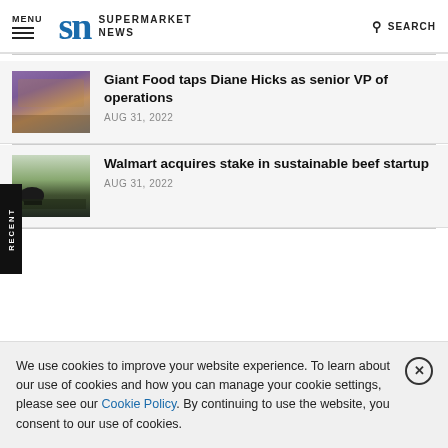MENU | SN SUPERMARKET NEWS | SEARCH
Giant Food taps Diane Hicks as senior VP of operations
AUG 31, 2022
Walmart acquires stake in sustainable beef startup
AUG 31, 2022
RECENT
We use cookies to improve your website experience. To learn about our use of cookies and how you can manage your cookie settings, please see our Cookie Policy. By continuing to use the website, you consent to our use of cookies.